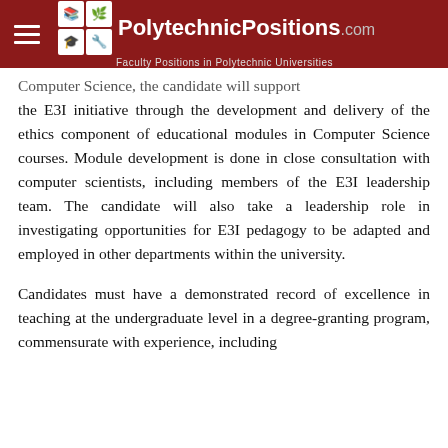PolytechnicPositions.com — Faculty Positions in Polytechnic Universities
Computer Science, the candidate will support the E3I initiative through the development and delivery of the ethics component of educational modules in Computer Science courses. Module development is done in close consultation with computer scientists, including members of the E3I leadership team. The candidate will also take a leadership role in investigating opportunities for E3I pedagogy to be adapted and employed in other departments within the university.
Candidates must have a demonstrated record of excellence in teaching at the undergraduate level in a degree-granting program, commensurate with experience, including